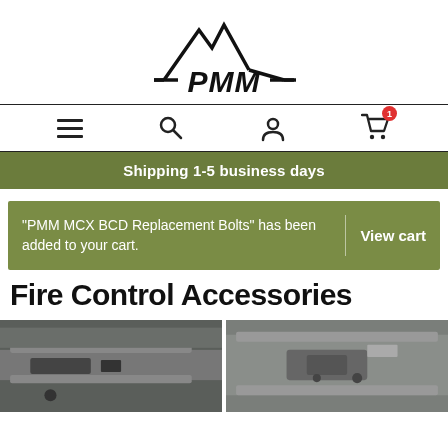[Figure (logo): PMM mountain peak logo with bold italic PMM text]
[Figure (other): Navigation bar with hamburger menu, search, user account, and shopping cart icons. Cart has badge showing 1 item.]
Shipping 1-5 business days
“PMM MCX BCD Replacement Bolts” has been added to your cart.
View cart
Fire Control Accessories
[Figure (photo): Close-up photo of a firearm accessory rail/receiver left side]
[Figure (photo): Close-up photo of a firearm receiver right side with fire control components]